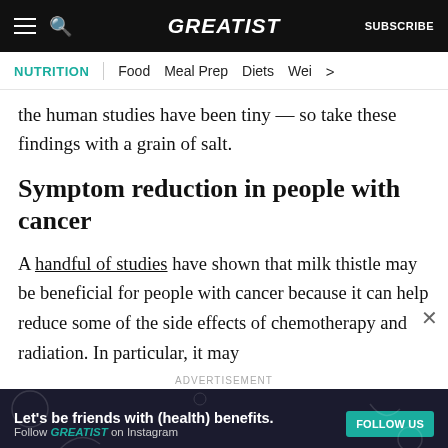GREATIST | SUBSCRIBE
NUTRITION | Food  Meal Prep  Diets  Wei >
the human studies have been tiny — so take these findings with a grain of salt.
Symptom reduction in people with cancer
A handful of studies have shown that milk thistle may be beneficial for people with cancer because it can help reduce some of the side effects of chemotherapy and radiation. In particular, it may
ADVERTISEMENT
[Figure (other): Advertisement banner: Let's be friends with (health) benefits. Follow GREATIST on Instagram. FOLLOW US button.]